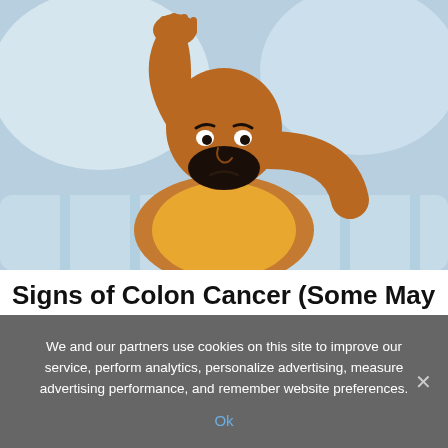[Figure (illustration): Cartoon illustration of a dark-skinned man lying in bed with hand raised to his forehead, looking distressed or unwell, against a light blue background with pillows and striped bedding.]
Signs of Colon Cancer (Some May Surprise You)
Colon Cancer | Sponsored
We and our partners use cookies on this site to improve our service, perform analytics, personalize advertising, measure advertising performance, and remember website preferences.
Ok